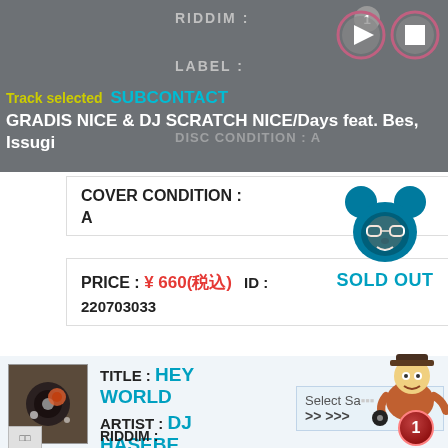RIDDIM :
LABEL :
Track selected  SUBCONTACT
GRADIS NICE & DJ SCRATCH NICE/Days feat. Bes, Issugi
DISC CONDITION : A
COVER CONDITION : A
PRICE : ¥ 660(税込)  ID : 220703033
[Figure (illustration): Mickey-mouse style mascot avatar illustration in teal/blue, with a human face and glasses]
SOLD OUT
[Figure (photo): Small album thumbnail photo of a record/DJ-related image]
TITLE : HEY WORLD
ARTIST : DJ HASEBE
RIDDIM :
[Figure (illustration): Cartoon DJ character illustration (mascot) with records, partially overlapping Select Sample box]
Select Sa... >>>>>> 1